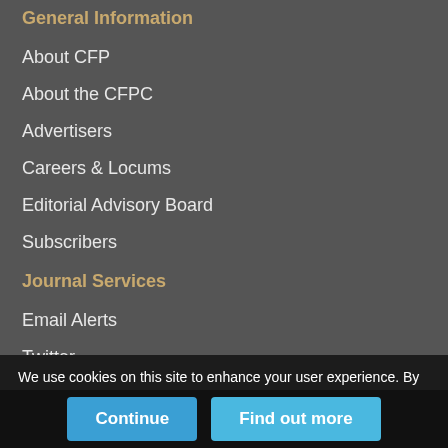General Information
About CFP
About the CFPC
Advertisers
Careers & Locums
Editorial Advisory Board
Subscribers
Journal Services
Email Alerts
Twitter
RSS Feeds
We use cookies on this site to enhance your user experience. By clicking any link on this page you are giving your consent for us to set cookies.
Continue
Find out more